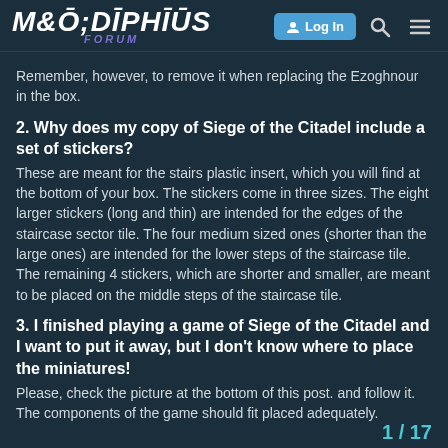MODIPHIUS FORUM — Log In
Remember, however, to remove it when replacing the Ezoghnour in the box.
2. Why does my copy of Siege of the Citadel include a set of stickers?
These are meant for the stairs plastic insert, which you will find at the bottom of your box. The stickers come in three sizes. The eight larger stickers (long and thin) are intended for the edges of the staircase sector tile. The four medium sized ones (shorter than the large ones) are intended for the lower steps of the staircase tile. The remaining 4 stickers, which are shorter and smaller, are meant to be placed on the middle steps of the staircase tile.
3. I finished playing a game of Siege of the Citadel and I want to put it away, but I don't know where to place the miniatures!
Please, check the picture at the bottom of this post. and follow it. The components of the game should fit placed adequately.
1 / 17